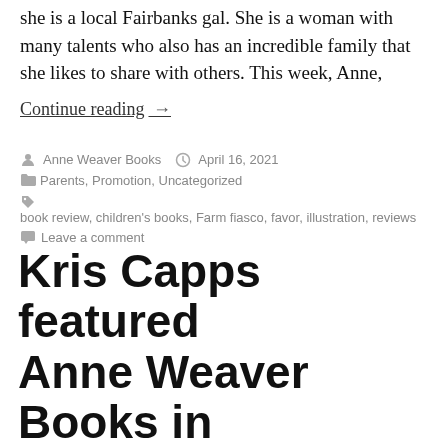she is a local Fairbanks gal. She is a woman with many talents who also has an incredible family that she likes to share with others. This week, Anne,
Continue reading →
By Anne Weaver Books   April 16, 2021
Parents, Promotion, Uncategorized
book review, children's books, Farm fiasco, favor, illustration, reviews
Leave a comment
Kris Capps featured Anne Weaver Books in